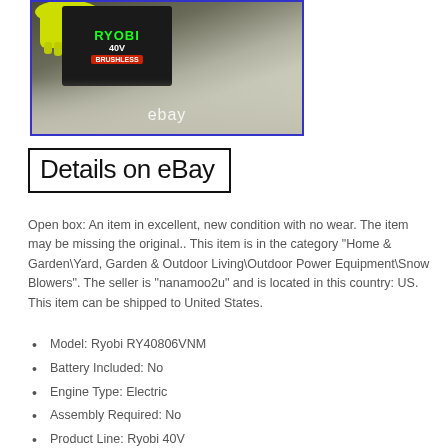[Figure (photo): Photo of a Ryobi snow blower product box on a concrete floor, with a yellow glove visible, blue border, and 'ebay' watermark overlay.]
Details on eBay
Open box: An item in excellent, new condition with no wear. The item may be missing the original.. This item is in the category “Home & Garden\Yard, Garden & Outdoor Living\Outdoor Power Equipment\Snow Blowers”. The seller is “nanamoo2u” and is located in this country: US. This item can be shipped to United States.
Model: Ryobi RY40806VNM
Battery Included: No
Engine Type: Electric
Assembly Required: No
Product Line: Ryobi 40V
Power Source: Battery
Type: Single Stage
MPN: 108836107
Brand: Ryobi